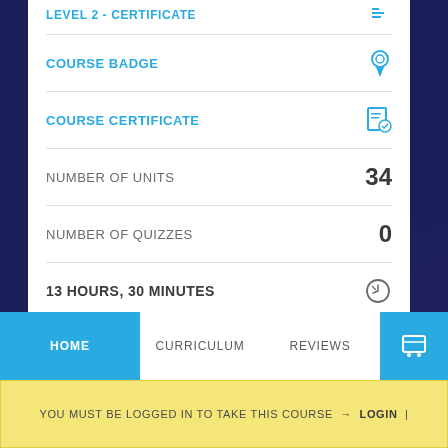COURSE BADGE
COURSE CERTIFICATE
NUMBER OF UNITS  34
NUMBER OF QUIZZES  0
13 HOURS, 30 MINUTES
f  (twitter)  G  in
HOME  CURRICULUM  REVIEWS
YOU MUST BE LOGGED IN TO TAKE THIS COURSE → LOGIN |